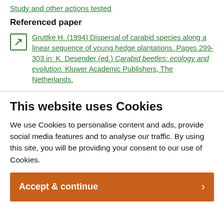Study and other actions tested
Referenced paper
Gruttke H. (1994) Dispersal of carabid species along a linear sequence of young hedge plantations. Pages 299-303 in: K. Desender (ed.) Carabid beetles: ecology and evolution. Kluwer Academic Publishers, The Netherlands.
This website uses Cookies
We use Cookies to personalise content and ads, provide social media features and to analyse our traffic. By using this site, you will be providing your consent to our use of Cookies.
Accept & continue